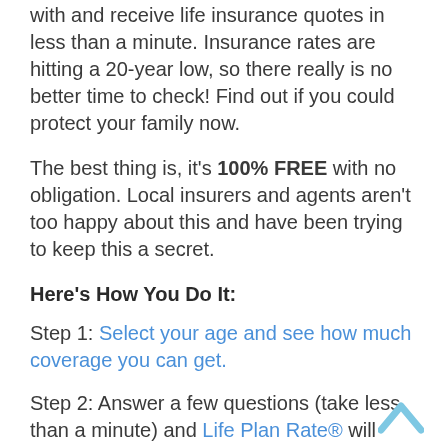with and receive life insurance quotes in less than a minute. Insurance rates are hitting a 20-year low, so there really is no better time to check! Find out if you could protect your family now.
The best thing is, it’s 100% FREE with no obligation. Local insurers and agents aren’t too happy about this and have been trying to keep this a secret.
Here’s How You Do It:
Step 1: Select your age and see how much coverage you can get.
Step 2: Answer a few questions (take less than a minute) and Life Plan Rate® will present you with choices and rates you never thought possible.